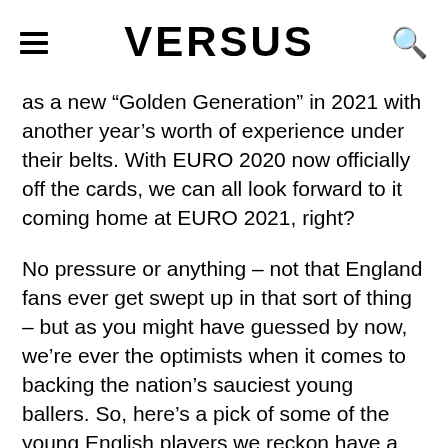VERSUS
as a new “Golden Generation” in 2021 with another year’s worth of experience under their belts. With EURO 2020 now officially off the cards, we can all look forward to it coming home at EURO 2021, right?
No pressure or anything – not that England fans ever get swept up in that sort of thing – but as you might have guessed by now, we’re ever the optimists when it comes to backing the nation’s sauciest young ballers. So, here’s a pick of some of the young English players we reckon have a real shot of making Gareth Southgate’s next England squad for an international tournament… whenever